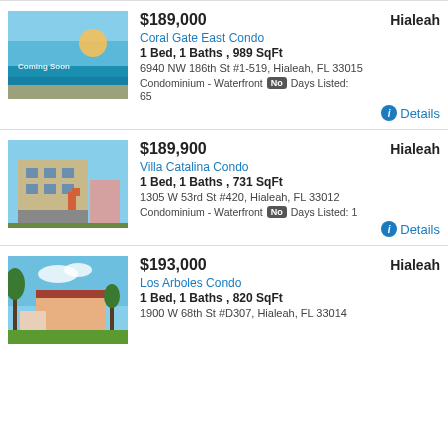[Figure (photo): Beach/sunset photo with 'Coming Soon' overlay]
$189,000  Hialeah
Coral Gate East Condo
1 Bed, 1 Baths , 989 SqFt
6940 NW 186th St #1-519, Hialeah, FL 33015
Condominium - Waterfront  No  Days Listed: 65
Details
[Figure (photo): Multi-story tan building with orange stairs]
$189,900  Hialeah
Villa Catalina Condo
1 Bed, 1 Baths , 731 SqFt
1305 W 53rd St #420, Hialeah, FL 33012
Condominium - Waterfront  No  Days Listed: 1
Details
[Figure (photo): Palm trees and Spanish-style building exterior]
$193,000  Hialeah
Los Arboles Condo
1 Bed, 1 Baths , 820 SqFt
1900 W 68th St #D307, Hialeah, FL 33014